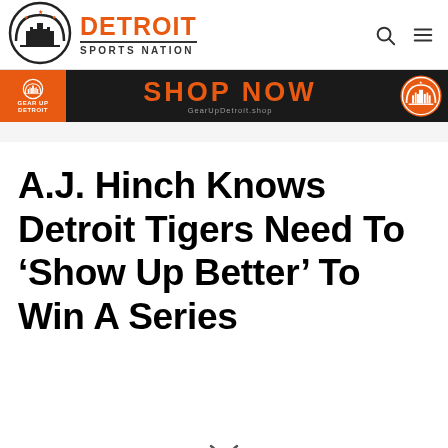Detroit Sports Nation
[Figure (logo): Detroit Sports Nation logo with cityscape silhouette in circle and stars, with 'DETROIT SPORTS NATION' text in orange and black]
[Figure (infographic): Black banner advertisement with orange 'SHOP NOW' text, 'GEAR UP DETROIT' logo on left, GearUpDetroit.shop URL, and Detroit logo on right]
A.J. Hinch Knows Detroit Tigers Need To ‘Show Up Better’ To Win A Series